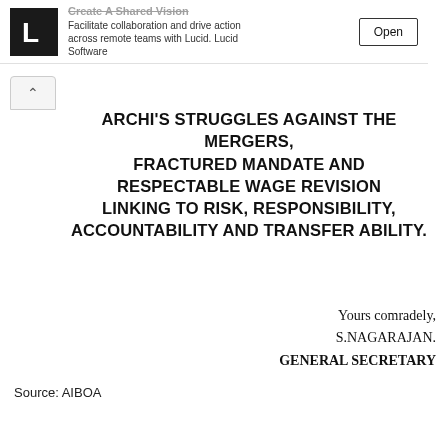[Figure (other): Lucid Software ad banner with logo, text 'Create A Shared Vision / Facilitate collaboration and drive action across remote teams with Lucid. Lucid Software', and an Open button]
ARCHI'S STRUGGLES AGAINST THE MERGERS, FRACTURED MANDATE AND RESPECTABLE WAGE REVISION LINKING TO RISK, RESPONSIBILITY, ACCOUNTABILITY AND TRANSFER ABILITY.
Yours comradely,
S.NAGARAJAN.
GENERAL SECRETARY
Source: AIBOA